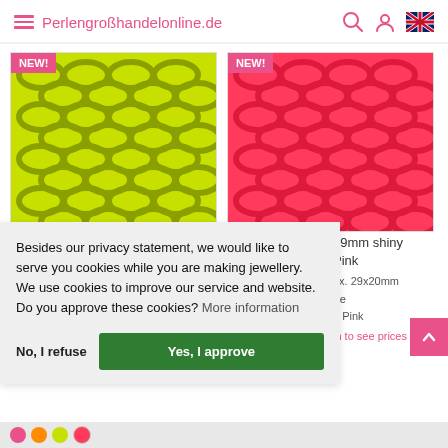Perlengroßhandelonline.de
[Figure (photo): Yellow-green plastic chain links product image with NEW! badge]
[Figure (photo): Hot pink plastic chain links product image with NEW! badge]
Besides our privacy statement, we would like to serve you cookies while you are making jewellery. We use cookies to improve our service and website. Do you approve these cookies? More information
No, I refuse
Yes, I approve
29mm shiny Pink
ox. 29x20mm
tre
n Pink
in to see prices